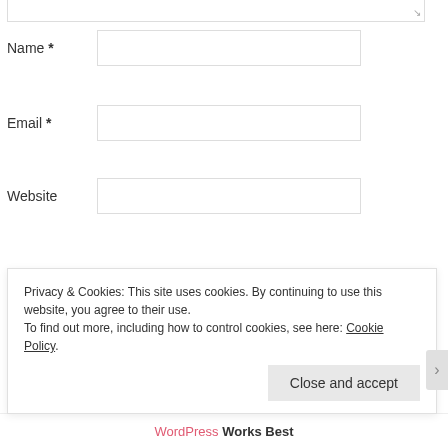Name *
Email *
Website
POST COMMENT
Notify me of new comments via email.
Notify me of new posts via email.
Privacy & Cookies: This site uses cookies. By continuing to use this website, you agree to their use. To find out more, including how to control cookies, see here: Cookie Policy
Close and accept
WordPress Works Best